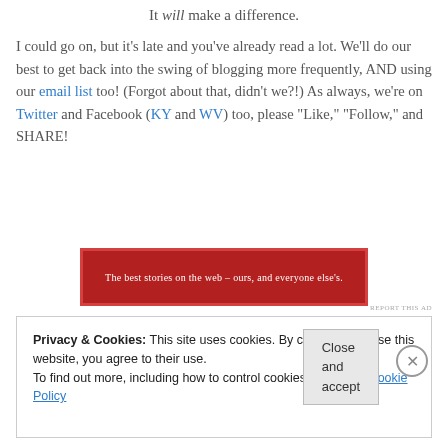It will make a difference.
I could go on, but it’s late and you’ve already read a lot. We’ll do our best to get back into the swing of blogging more frequently, AND using our email list too! (Forgot about that, didn’t we?!) As always, we’re on Twitter and Facebook (KY and WV) too, please “Like,” “Follow,” and SHARE!
[Figure (other): Red advertisement banner with white text: 'The best stories on the web – ours, and everyone else’s.']
REPORT THIS AD
Privacy & Cookies: This site uses cookies. By continuing to use this website, you agree to their use.
To find out more, including how to control cookies, see here: Cookie Policy
Close and accept